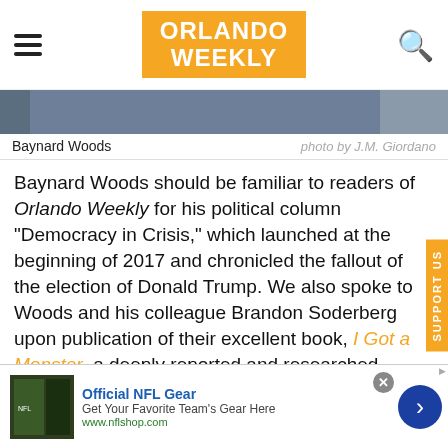ORLANDO WEEKLY
[Figure (photo): Cropped photograph of Baynard Woods, dark background]
Baynard Woods
photo by J.M. Giordano
Baynard Woods should be familiar to readers of Orlando Weekly for his political column "Democracy in Crisis," which launched at the beginning of 2017 and chronicled the fallout of the election of Donald Trump. We also spoke to Woods and his colleague Brandon Soderberg upon publication of their excellent book, I Got a Monster, a deeply reported and researched exposé of Baltimore's corrupt Gun Trace Task Force — which, just saying, came
[Figure (other): Advertisement banner: Official NFL Gear - Get Your Favorite Team's Gear Here - www.nflshop.com]